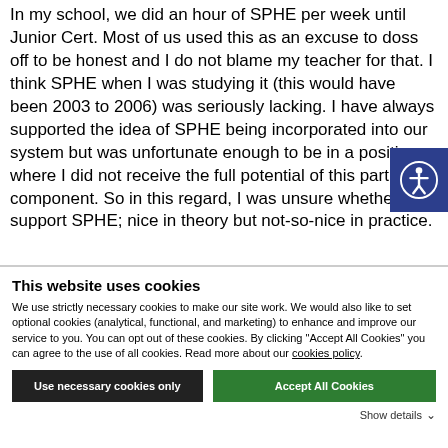In my school, we did an hour of SPHE per week until Junior Cert. Most of us used this as an excuse to doss off to be honest and I do not blame my teacher for that. I think SPHE when I was studying it (this would have been 2003 to 2006) was seriously lacking. I have always supported the idea of SPHE being incorporated into our system but was unfortunate enough to be in a position where I did not receive the full potential of this particular component. So in this regard, I was unsure whether to support SPHE; nice in theory but not-so-nice in practice.
This website uses cookies
We use strictly necessary cookies to make our site work. We would also like to set optional cookies (analytical, functional, and marketing) to enhance and improve our service to you. You can opt out of these cookies. By clicking "Accept All Cookies" you can agree to the use of all cookies. Read more about our cookies policy.